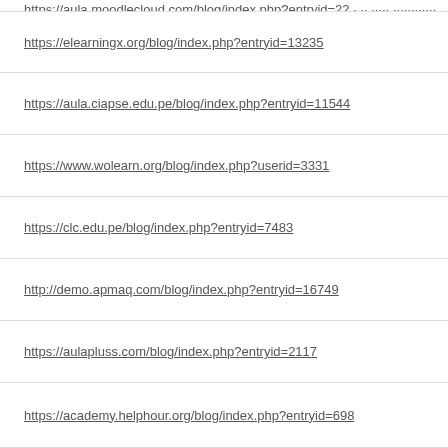https://elearningx.org/blog/index.php?entryid=13235
https://aula.ciapse.edu.pe/blog/index.php?entryid=11544
https://www.wolearn.org/blog/index.php?userid=3331
https://clc.edu.pe/blog/index.php?entryid=7483
http://demo.apmaq.com/blog/index.php?entryid=16749
https://aulapluss.com/blog/index.php?entryid=2117
https://academy.helphour.org/blog/index.php?entryid=698